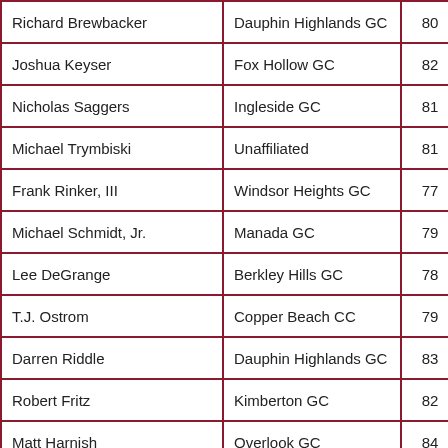| Richard Brewbacker | Dauphin Highlands GC | 80 | 79 | 159 |
| Joshua Keyser | Fox Hollow GC | 82 | 77 | 159 |
| Nicholas Saggers | Ingleside GC | 81 | 78 | 159 |
| Michael Trymbiski | Unaffiliated | 81 | 78 | 159 |
| Frank Rinker, III | Windsor Heights GC | 77 | 83 | 160 |
| Michael Schmidt, Jr. | Manada GC | 79 | 81 | 160 |
| Lee DeGrange | Berkley Hills GC | 78 | 83 | 161 |
| T.J. Ostrom | Copper Beach CC | 79 | 82 | 161 |
| Darren Riddle | Dauphin Highlands GC | 83 | 78 | 161 |
| Robert Fritz | Kimberton GC | 82 | 80 | 162 |
| Matt Harnish | Overlook GC | 84 | 78 | 162 |